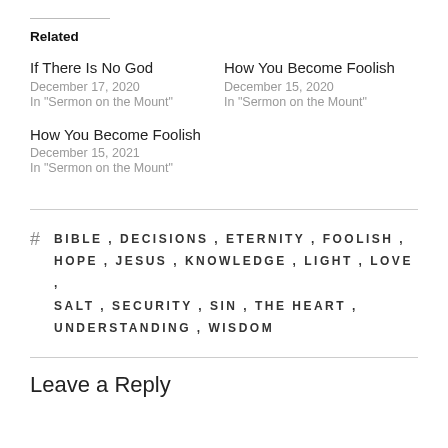Related
If There Is No God
December 17, 2020
In "Sermon on the Mount"
How You Become Foolish
December 15, 2020
In "Sermon on the Mount"
How You Become Foolish
December 15, 2021
In "Sermon on the Mount"
BIBLE , DECISIONS , ETERNITY , FOOLISH , HOPE , JESUS , KNOWLEDGE , LIGHT , LOVE , SALT , SECURITY , SIN , THE HEART , UNDERSTANDING , WISDOM
Leave a Reply